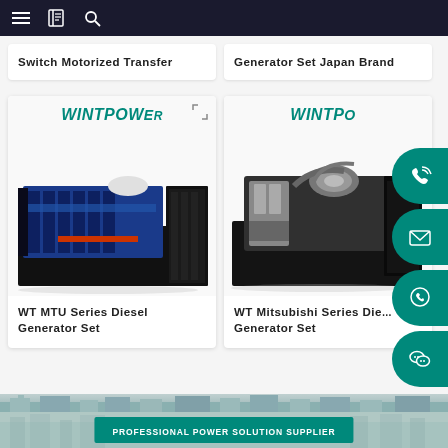Navigation bar with menu, book, and search icons
Switch Motorized Transfer
Generator Set Japan Brand
[Figure (photo): WINTPOWER branded MTU series diesel generator set - large industrial generator with blue engine block on black frame]
WT MTU Series Diesel Generator Set
[Figure (photo): WINTPOWER branded Mitsubishi series diesel generator set - industrial generator with silver/chrome engine partially obscured by social media icon overlay]
WT Mitsubishi Series Diesel Generator Set
[Figure (infographic): Social media contact buttons on right side: phone, email, WhatsApp, WeChat - teal/green rounded pill buttons]
[Figure (photo): Bottom banner showing city skyline with text: PROFESSIONAL POWER SOLUTION SUPPLIER on green background]